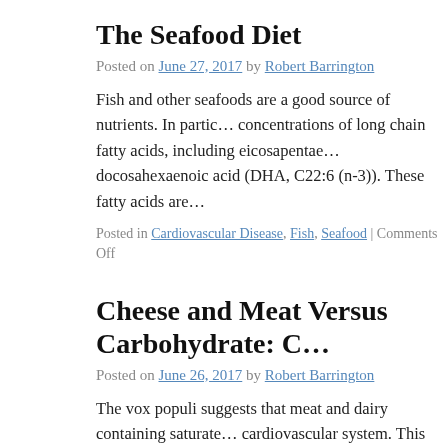The Seafood Diet
Posted on June 27, 2017 by Robert Barrington
Fish and other seafoods are a good source of nutrients. In partic… concentrations of long chain fatty acids, including eicosapentae… docosahexaenoic acid (DHA, C22:6 (n-3)). These fatty acids are…
Posted in Cardiovascular Disease, Fish, Seafood | Comments Off
Cheese and Meat Versus Carbohydrate: C…
Posted on June 26, 2017 by Robert Barrington
The vox populi suggests that meat and dairy containing saturate… cardiovascular system. This belief is not however supported by … many erroneous conclusions from flawed studies have fuelled th… propagandisation … Continue reading →
Posted in Carbohydrate, Cardiovascular Disease, Cheese, Cholesterol, Meat…